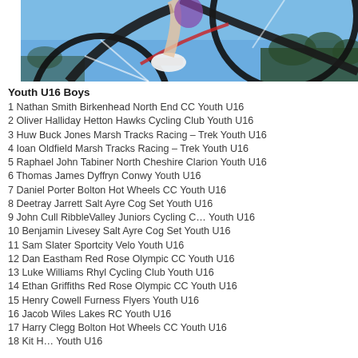[Figure (photo): Cyclist on a road bicycle, wearing white shoes and colorful jersey, photographed against a blue sky background]
Youth U16 Boys
1 Nathan Smith Birkenhead North End CC Youth U16
2 Oliver Halliday Hetton Hawks Cycling Club Youth U16
3 Huw Buck Jones Marsh Tracks Racing – Trek Youth U16
4 Ioan Oldfield Marsh Tracks Racing – Trek Youth U16
5 Raphael John Tabiner North Cheshire Clarion Youth U16
6 Thomas James Dyffryn Conwy Youth U16
7 Daniel Porter Bolton Hot Wheels CC Youth U16
8 Deetray Jarrett Salt Ayre Cog Set Youth U16
9 John Cull RibbleValley Juniors Cycling C… Youth U16
10 Benjamin Livesey Salt Ayre Cog Set Youth U16
11 Sam Slater Sportcity Velo Youth U16
12 Dan Eastham Red Rose Olympic CC Youth U16
13 Luke Williams Rhyl Cycling Club Youth U16
14 Ethan Griffiths Red Rose Olympic CC Youth U16
15 Henry Cowell Furness Flyers Youth U16
16 Jacob Wiles Lakes RC Youth U16
17 Harry Clegg Bolton Hot Wheels CC Youth U16
18 Kit [truncated] Youth U16